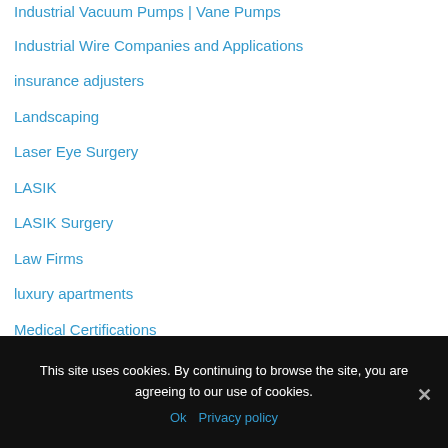Industrial Vacuum Pumps | Vane Pumps
Industrial Wire Companies and Applications
insurance adjusters
Landscaping
Laser Eye Surgery
LASIK
LASIK Surgery
Law Firms
luxury apartments
Medical Certifications
Metal Stamping Companies
New and Used
This site uses cookies. By continuing to browse the site, you are agreeing to our use of cookies.
Ok  Privacy policy